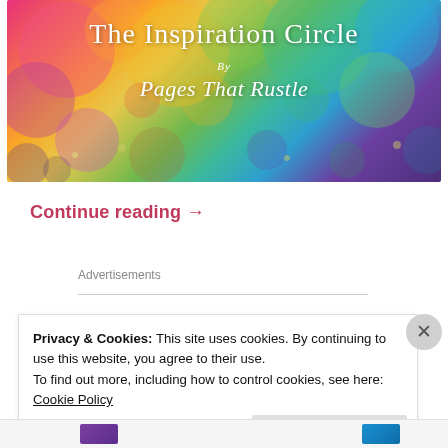[Figure (illustration): Colorful bokeh bubble background image with text 'The Inspiration Circle By Pages That Rustle' in white serif font]
Continue reading →
Advertisements
Privacy & Cookies: This site uses cookies. By continuing to use this website, you agree to their use.
To find out more, including how to control cookies, see here: Cookie Policy
Close and accept